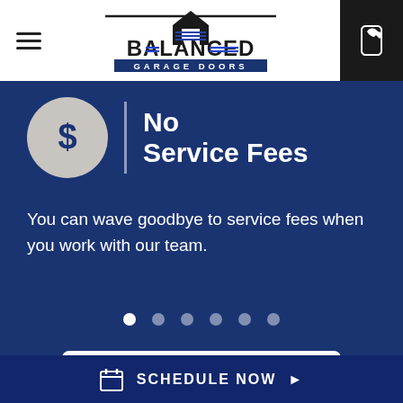[Figure (logo): Balanced Garage Doors logo with house/door icon and text]
No Service Fees
You can wave goodbye to service fees when you work with our team.
[Figure (other): Slider navigation dots, 6 circles, first one active/white]
GET TO KNOW US ▶
SCHEDULE NOW ▶